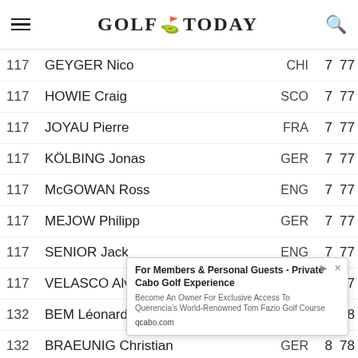GOLF TODAY
| Pos | Name | Country | Score | Total |
| --- | --- | --- | --- | --- |
| 117 | GEYGER Nico | CHI | 7 | 77 |
| 117 | HOWIE Craig | SCO | 7 | 77 |
| 117 | JOYAU Pierre | FRA | 7 | 77 |
| 117 | KÖLBING Jonas | GER | 7 | 77 |
| 117 | McGOWAN Ross | ENG | 7 | 77 |
| 117 | MEJOW Philipp | GER | 7 | 77 |
| 117 | SENIOR Jack | ENG | 7 | 77 |
| 117 | VELASCO Alvaro | ESP | 7 | 77 |
| 132 | BEM Léonard | FRA | 8 | 78 |
| 132 | BRAEUNIG Christian | GER | 8 | 78 |
| 132 | ESPAÑA Edouard | FRA | 8 | 78 |
| 132 | LES… |  | 8 | 78 |
| 132 | MO… |  | 8 | 78 |
| 132 | TISS… |  | 8 | 78 |
| 138 | AH… |  | 9 | 79 |
| 138 | GAL Petr |  |  |  |